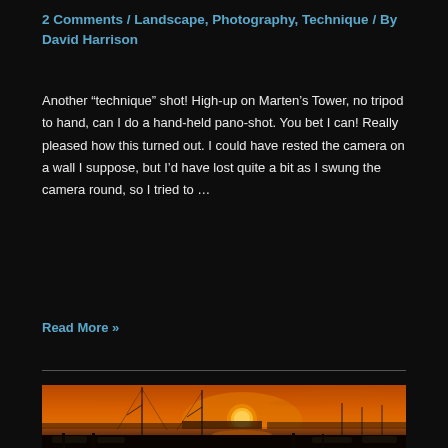2 Comments / Landscape, Photography, Technique / By David Harrison
Another “technique” shot! High-up on Marten’s Tower, no tripod to hand, can I do a hand-held pano-shot. You bet I can! Really pleased how this turned out. I could have rested the camera on a wall I suppose, but I’d have lost quite a bit as I swung the camera round, so I tried to …
Read More »
[Figure (photo): A panoramic sunset photograph taken from a high vantage point overlooking a marina or harbor. The sky glows deep orange with the bright white sun near the horizon. Sailboat masts and boat silhouettes are visible in the foreground against the warm orange sky and calm water.]